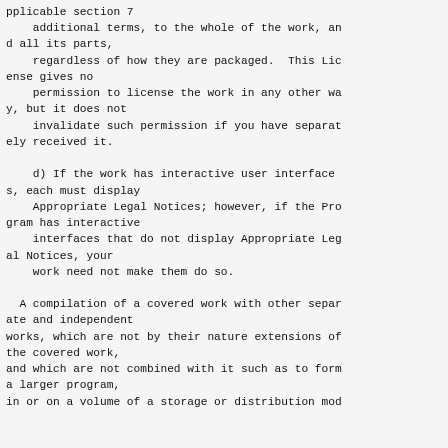pplicable section 7
    additional terms, to the whole of the work, and all its parts,
    regardless of how they are packaged.  This License gives no
    permission to license the work in any other way, but it does not
    invalidate such permission if you have separately received it.

    d) If the work has interactive user interfaces, each must display
    Appropriate Legal Notices; however, if the Program has interactive
    interfaces that do not display Appropriate Legal Notices, your
    work need not make them do so.

  A compilation of a covered work with other separate and independent
works, which are not by their nature extensions of the covered work,
and which are not combined with it such as to form a larger program,
in or on a volume of a storage or distribution mod